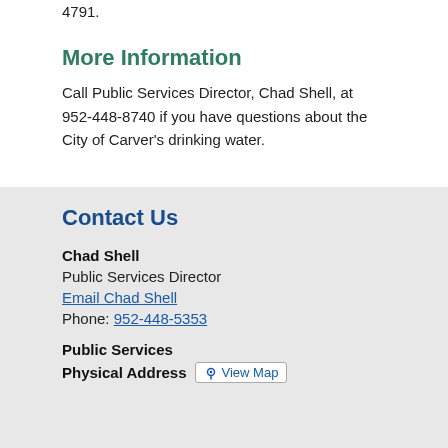4791.
More Information
Call Public Services Director, Chad Shell, at 952-448-8740 if you have questions about the City of Carver's drinking water.
Contact Us
Chad Shell
Public Services Director
Email Chad Shell
Phone: 952-448-5353
Public Services
Physical Address   View Map